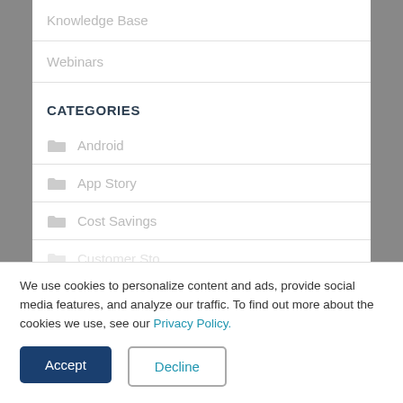Knowledge Base
Webinars
CATEGORIES
Android
App Story
Cost Savings
We use cookies to personalize content and ads, provide social media features, and analyze our traffic. To find out more about the cookies we use, see our Privacy Policy.
Accept
Decline